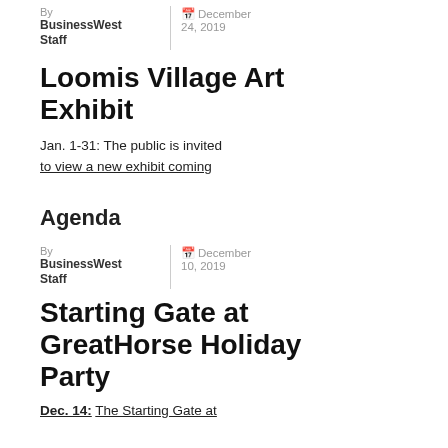By BusinessWest Staff
December 24, 2019
Loomis Village Art Exhibit
Jan. 1-31: The public is invited to view a new exhibit coming
Agenda
By BusinessWest Staff
December 10, 2019
Starting Gate at GreatHorse Holiday Party
Dec. 14: The Starting Gate at